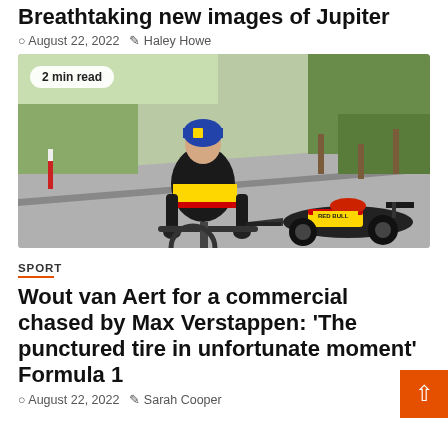Breathtaking new images of Jupiter
August 22, 2022   Haley Howe
[Figure (photo): Cyclist Wout van Aert riding a racing bicycle on a road, wearing a Jumbo-Visma team kit and blue helmet, with a Red Bull Formula 1 race car following closely behind on the same road, trees visible in background. Badge overlay reads '2 min read'.]
SPORT
Wout van Aert for a commercial chased by Max Verstappen: ‘The punctured tire in unfortunate moment’ Formula 1
August 22, 2022   Sarah Cooper